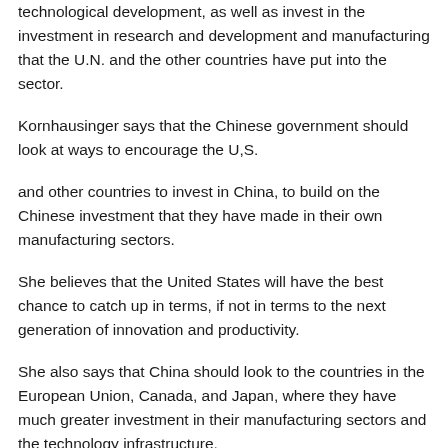technological development, as well as invest in the investment in research and development and manufacturing that the U.N. and the other countries have put into the sector.
Kornhausinger says that the Chinese government should look at ways to encourage the U,S.
and other countries to invest in China, to build on the Chinese investment that they have made in their own manufacturing sectors.
She believes that the United States will have the best chance to catch up in terms, if not in terms to the next generation of innovation and productivity.
She also says that China should look to the countries in the European Union, Canada, and Japan, where they have much greater investment in their manufacturing sectors and the technology infrastructure.